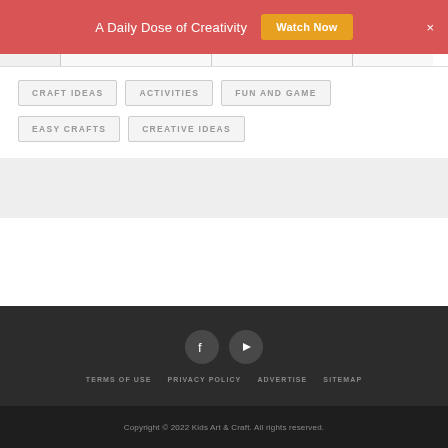A Daily Dose of Creativity  Watch Now  ×
CRAFT IDEAS
ACTIVITIES
FUN AND GAME
EASY CRAFTS
CREATIVE IDEAS
[Figure (illustration): Social media icons: Facebook and YouTube in dark circles]
TERMS OF USE   PRIVACY POLICY   ADVERTISE   SITEMAP
Copyright © 2022 Kids Art & Craft. All rights reserved.